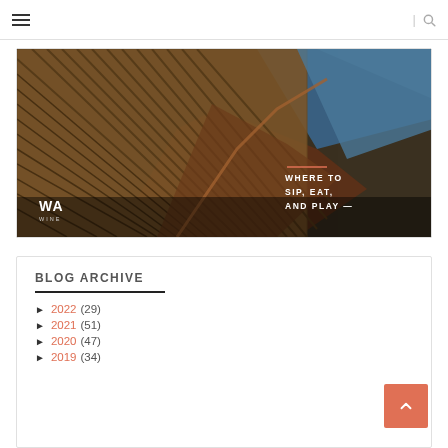≡  |  🔍
[Figure (photo): Aerial photograph of vineyard rows with cliff and ocean, text overlay 'WA WINE' and 'WHERE TO SIP, EAT, AND PLAY']
BLOG ARCHIVE
► 2022 (29)
► 2021 (51)
► 2020 (47)
► 2019 (34)